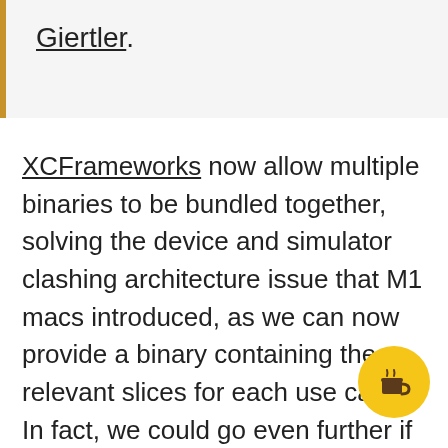Giertler.
XCFrameworks now allow multiple binaries to be bundled together, solving the device and simulator clashing architecture issue that M1 macs introduced, as we can now provide a binary containing the relevant slices for each use case. In fact, we could go even further if we needed to and, for example, do things such as bundle a binary containing `UIKit` interfaces for iOS targets and one containing `AppKit` interfaces for macOS ones in the same xcframework and just let Xcode decide which one to use based on the intended